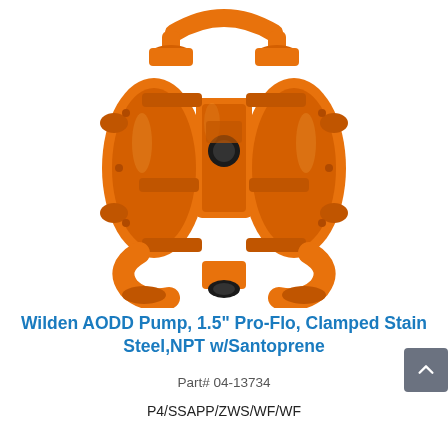[Figure (photo): Orange Wilden AODD (Air-Operated Double Diaphragm) pump with clamped stainless steel body, shown from front, featuring inlet/outlet ports, handle, and center air section.]
Wilden AODD Pump, 1.5" Pro-Flo, Clamped Stainless Steel,NPT w/Santoprene
Part# 04-13734
P4/SSAPP/ZWS/WF/WF